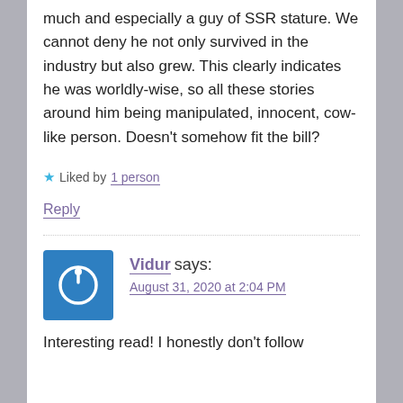much and especially a guy of SSR stature. We cannot deny he not only survived in the industry but also grew. This clearly indicates he was worldly-wise, so all these stories around him being manipulated, innocent, cow-like person. Doesn't somehow fit the bill?
★ Liked by 1 person
Reply
Vidur says:
August 31, 2020 at 2:04 PM
Interesting read! I honestly don't follow